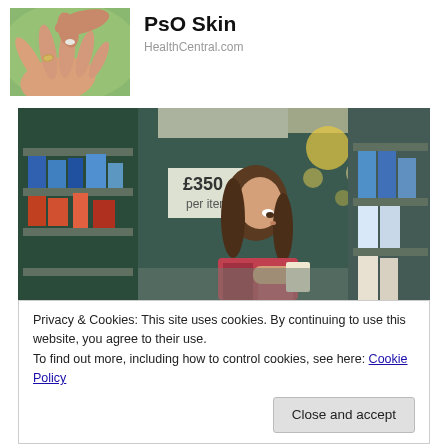[Figure (photo): Close-up photo of a hand with a pill being placed into the palm, green blurred background]
PsO Skin
HealthCentral.com
[Figure (photo): Woman browsing products in a pharmacy or grocery store aisle, bokeh background with colorful lights]
Privacy & Cookies: This site uses cookies. By continuing to use this website, you agree to their use.
To find out more, including how to control cookies, see here: Cookie Policy
Close and accept
HealthCentral